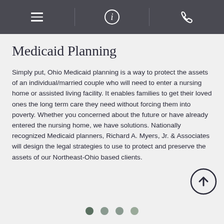[Navigation bar with menu, info, and phone icons]
Medicaid Planning
Simply put, Ohio Medicaid planning is a way to protect the assets of an individual/married couple who will need to enter a nursing home or assisted living facility. It enables families to get their loved ones the long term care they need without forcing them into poverty. Whether you concerned about the future or have already entered the nursing home, we have solutions. Nationally recognized Medicaid planners, Richard A. Myers, Jr. & Associates will design the legal strategies to use to protect and preserve the assets of our Northeast-Ohio based clients.